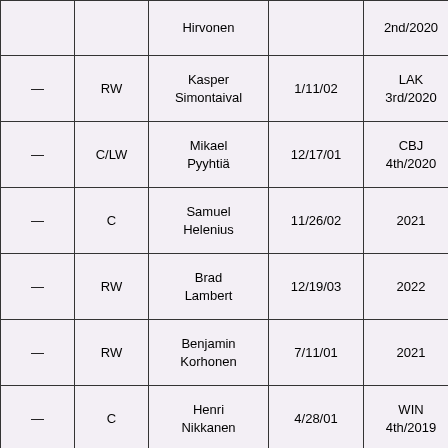|  |  | Name | DOB | Draft |  |
| --- | --- | --- | --- | --- | --- |
|  |  | Hirvonen |  | 2nd/2020 |  |
| — | RW | Kasper Simontaival | 1/11/02 | LAK 3rd/2020 | 5 |
| — | C/LW | Mikael Pyyhtiä | 12/17/01 | CBJ 4th/2020 | 6 |
| — | C | Samuel Helenius | 11/26/02 | 2021 | 6 |
| — | RW | Brad Lambert | 12/19/03 | 2022 | 6 |
| — | RW | Benjamin Korhonen | 7/11/01 | 2021 | 6 |
| — | C | Henri Nikkanen | 4/28/01 | WIN 4th/2019 | 6 |